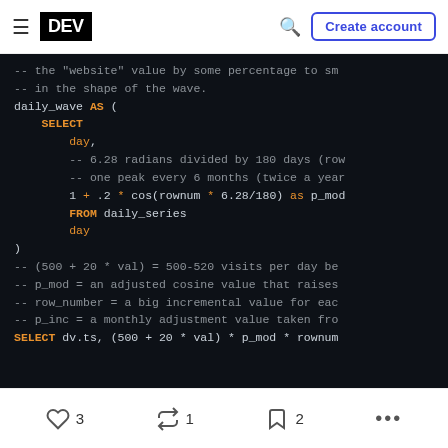DEV | Create account
[Figure (screenshot): Dark-themed SQL code block showing a CTE called daily_wave with SELECT statement, comments about radians and cosine, and a final SELECT line with calculations.]
3 likes, 1 boost, 2 bookmarks, more options